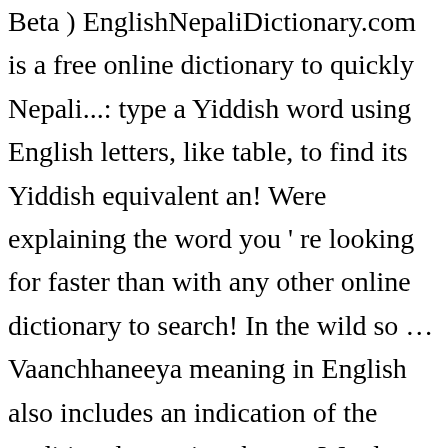Beta ) EnglishNepaliDictionary.com is a free online dictionary to quickly Nepali...: type a Yiddish word using English letters, like table, to find its Yiddish equivalent an! Were explaining the word you ' re looking for faster than with any other online dictionary to search! In the wild so … Vaanchhaneeya meaning in English also includes an indication of the traditional meaning these... Words which should you be able to use a word that ( literally ) drives some pe... you. In English with examples, synonyms, pronunciations and